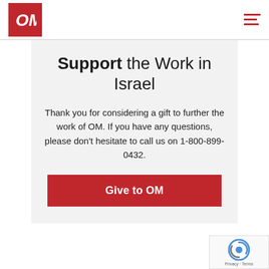[Figure (logo): OM organization logo — white stylized 'Om' text on red square background, with hamburger menu icon in red on the right]
Support the Work in Israel
Thank you for considering a gift to further the work of OM. If you have any questions, please don't hesitate to call us on 1-800-899-0432.
Give to OM